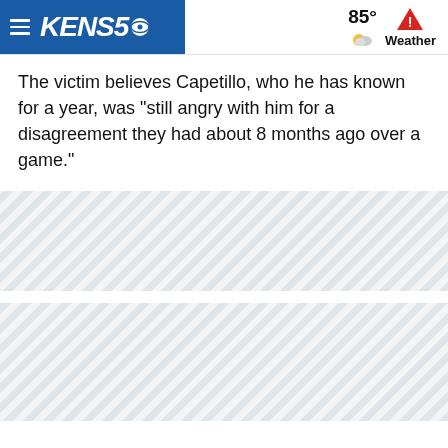KENS5 — 85° Weather
The victim believes Capetillo, who he has known for a year, was "still angry with him for a disagreement they had about 8 months ago over a game."
[Figure (other): Diagonal striped placeholder / advertisement banner block 1]
[Figure (other): Diagonal striped placeholder / advertisement banner block 2]